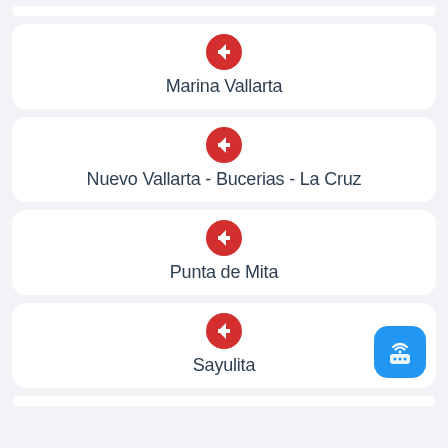Marina Vallarta
Nuevo Vallarta - Bucerias - La Cruz
Punta de Mita
Sayulita